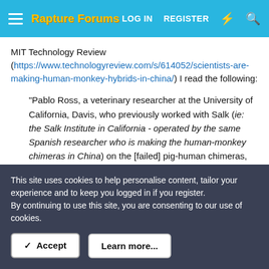Rapture Forums — LOG IN   REGISTER
MIT Technology Review (https://www.technologyreview.com/s/614052/scientists-are-making-human-monkey-hybrids-in-china/) I read the following:
"Pablo Ross, a veterinary researcher at the University of California, Davis, who previously worked with Salk (ie: the Salk Institute in California - operated by the same Spanish researcher who is making the human-monkey chimeras in China) on the [failed] pig-human chimeras, says he doesn't think it makes sense to try to grow human organs in monkeys.
This site uses cookies to help personalise content, tailor your experience and to keep you logged in if you register.
By continuing to use this site, you are consenting to our use of cookies.